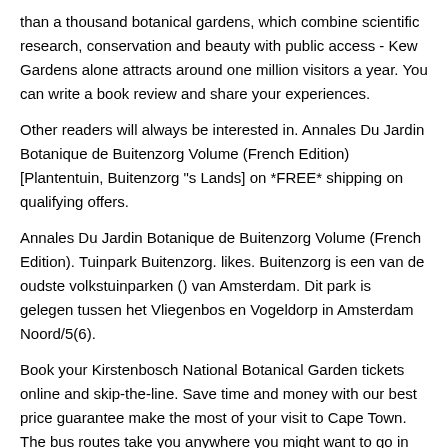than a thousand botanical gardens, which combine scientific research, conservation and beauty with public access - Kew Gardens alone attracts around one million visitors a year. You can write a book review and share your experiences.
Other readers will always be interested in. Annales Du Jardin Botanique de Buitenzorg Volume (French Edition) [Plantentuin, Buitenzorg "s Lands] on *FREE* shipping on qualifying offers.
Annales Du Jardin Botanique de Buitenzorg Volume (French Edition). Tuinpark Buitenzorg. likes. Buitenzorg is een van de oudste volkstuinparken () van Amsterdam. Dit park is gelegen tussen het Vliegenbos en Vogeldorp in Amsterdam Noord/5(6).
Book your Kirstenbosch National Botanical Garden tickets online and skip-the-line. Save time and money with our best price guarantee make the most of your visit to Cape Town. The bus routes take you anywhere you might want to go in and around Capetown including the cable car and botanic gardens, as well as the coastal suburbs.
We didn't /5(K). One of the most beautiful botanic gardens in the